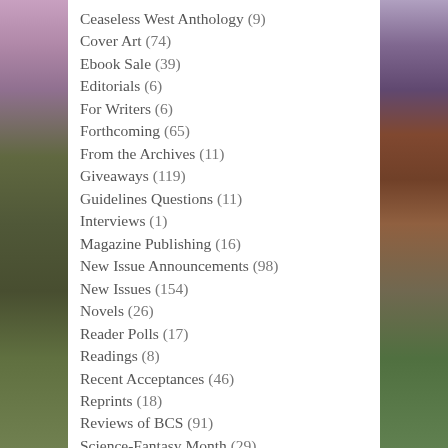Ceaseless West Anthology (9)
Cover Art (74)
Ebook Sale (39)
Editorials (6)
For Writers (6)
Forthcoming (65)
From the Archives (11)
Giveaways (119)
Guidelines Questions (11)
Interviews (1)
Magazine Publishing (16)
New Issue Announcements (98)
New Issues (154)
Novels (26)
Reader Polls (17)
Readings (8)
Recent Acceptances (46)
Reprints (18)
Reviews of BCS (91)
Science-Fantasy Month (29)
Slush Updates (254)